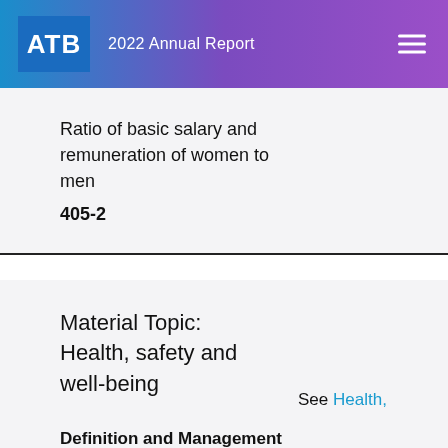ATB  2022 Annual Report
Ratio of basic salary and remuneration of women to men
405-2
Material Topic: Health, safety and well-being
Definition and Management of material topic
3-3
See Health,